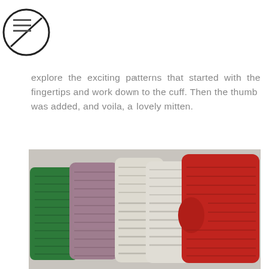[Logo: stylized S in circle, hamburger menu]
explore the exciting patterns that started with the fingertips and work down to the cuff. Then the thumb was added, and voila, a lovely mitten.
[Figure (photo): Four crocheted mittens fanned out on a grey surface: green, purple/mauve, cream/white (two overlapping), and red, photographed from above at an angle.]